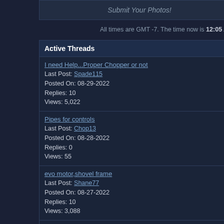Submit Your Photos!
All times are GMT -7. The time now is 12:05 AM.
Active Threads
I need Help...Proper Chopper or not
Last Post: Spade115
Posted On: 08-29-2022
Replies: 10
Views: 5,022
Pipes for controls
Last Post: Chop13
Posted On: 08-28-2022
Replies: 0
Views: 55
evo motor,shovel frame
Last Post: Shane77
Posted On: 08-27-2022
Replies: 10
Views: 3,088
WCC Hell Bents
Last Post: vtchopperdude
Posted On: 08-27-2022
Replies: 2
Views: 479
Not a chopper but differently custrom
Last Post: gt alex
Posted On: 08-27-2022
Replies: 28
Views: 3,897
More...